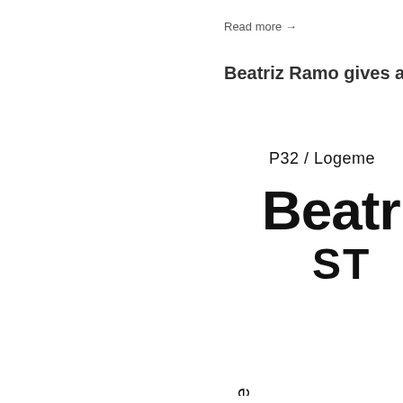Read more →
Beatriz Ramo gives a Lectur
[Figure (illustration): Conference poster showing rotated text 'Conférence' vertically along left side, 'P32 / Logeme' at top, large bold text 'Beatri' and 'ST' on right side, partially cropped]